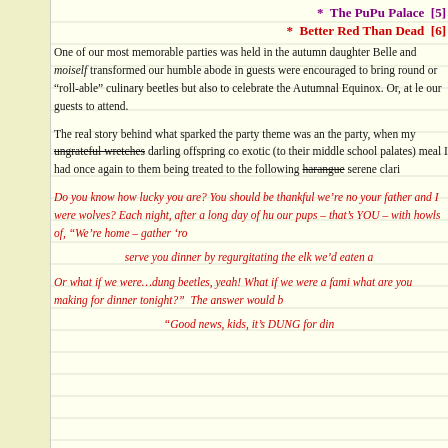* The PuPu Palace [5]
* Better Red Than Dead [6]
One of our most memorable parties was held in the autumn daughter Belle and moiself transformed our humble abode in... guests were encouraged to bring round or "roll-able" culinary... beetles but also to celebrate the Autumnal Equinox. Or, at le... our guests to attend.
The real story behind what sparked the party theme was an... the party, when my ungrateful wretches darling offspring co... exotic (to their middle school palates) meal I had once again... to them being treated to the following harangue serene clari...
Do you know how lucky you are? You should be thankful we're no... your father and I were wolves? Each night, after a long day of hu... our pups – that's YOU – with howls of, "We're home – gather 'ro... serve you dinner by regurgitating the elk we'd eaten a...
Or what if we were…dung beetles, yeah! What if we were a fami... what are you making for dinner tonight?" The answer would b... "Good news, kids, it's DUNG for din...